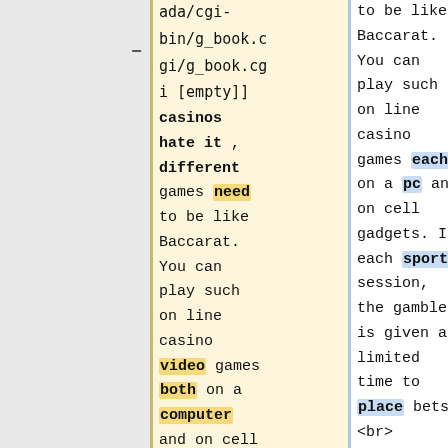ada/cgi-bin/g_book.cgi/g_book.cgi [empty]] casinos hate it , different games need to be like Baccarat. You can play such on line casino video games both on a computer and on cell gadgets. In each game session, the gambler
to be like Baccarat. You can play such on line casino games each on a pc and on cell gadgets. In each sport session, the gambler is given a limited time to place bets. <br> <br>He's banned from all Vegas casinos